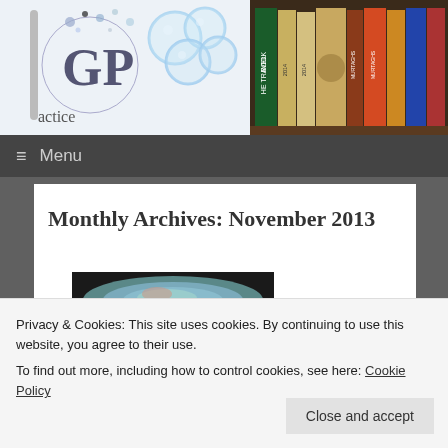[Figure (logo): GP practice logo with stylized GP letters and bubbles graphic, text reading 'actice' visible (part of 'practice')]
[Figure (photo): Photo of books on a shelf, including 'The Travel Book' and other medical/travel reference books]
Menu
Monthly Archives: November 2013
[Figure (photo): Close-up medical photo of an ear canal/eardrum]
Privacy & Cookies: This site uses cookies. By continuing to use this website, you agree to their use.
To find out more, including how to control cookies, see here: Cookie Policy
Close and accept